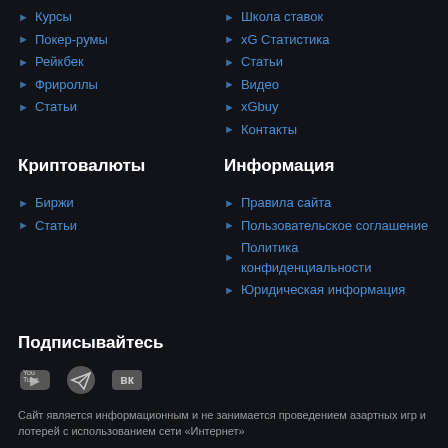Курсы
Покер-румы
Рейкбек
Фрироллы
Статьи
Школа ставок
xG Статистика
Статьи
Видео
xGbuy
Контакты
Криптовалюты
Информация
Биржи
Статьи
Правила сайта
Пользовательское соглашение
Политика конфиденциальности
Юридическая информация
Подписывайтесь
[Figure (illustration): Social media icons: YouTube, Telegram, VK]
Сайт является информационным и не занимается проведением азартных игр и лотерей с использованием сети «Интернет»